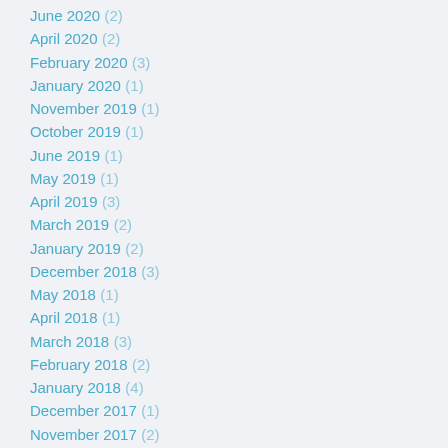June 2020 (2)
April 2020 (2)
February 2020 (3)
January 2020 (1)
November 2019 (1)
October 2019 (1)
June 2019 (1)
May 2019 (1)
April 2019 (3)
March 2019 (2)
January 2019 (2)
December 2018 (3)
May 2018 (1)
April 2018 (1)
March 2018 (3)
February 2018 (2)
January 2018 (4)
December 2017 (1)
November 2017 (2)
October 2017 (1)
July 2017 (6)
June 2017 (6)
May 2017 (1)